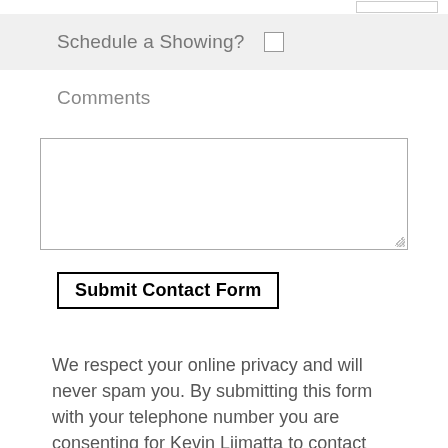Schedule a Showing?
Comments
Submit Contact Form
We respect your online privacy and will never spam you. By submitting this form with your telephone number you are consenting for Kevin Liimatta to contact you even if your name is on a Federal or State "Do not call List"